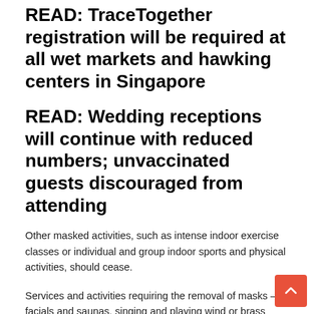READ: TraceTogether registration will be required at all wet markets and hawking centers in Singapore
READ: Wedding receptions will continue with reduced numbers; unvaccinated guests discouraged from attending
Other masked activities, such as intense indoor exercise classes or individual and group indoor sports and physical activities, should cease.
Services and activities requiring the removal of masks – facials and saunas, singing and playing wind or brass instruments – will also not be allowed.
The restrictions will not apply to medical and dental consultations that require patients to remove their masks. But